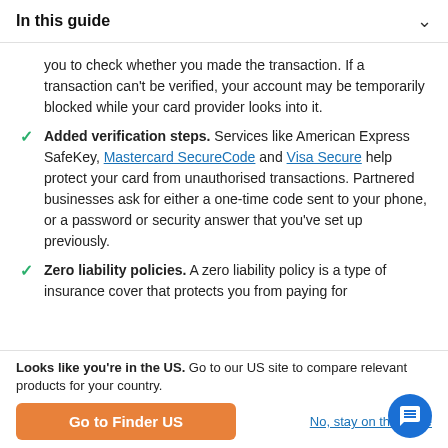In this guide
you to check whether you made the transaction. If a transaction can't be verified, your account may be temporarily blocked while your card provider looks into it.
Added verification steps. Services like American Express SafeKey, Mastercard SecureCode and Visa Secure help protect your card from unauthorised transactions. Partnered businesses ask for either a one-time code sent to your phone, or a password or security answer that you've set up previously.
Zero liability policies. A zero liability policy is a type of insurance cover that protects you from paying for
Looks like you're in the US. Go to our US site to compare relevant products for your country.
Go to Finder US
No, stay on this page